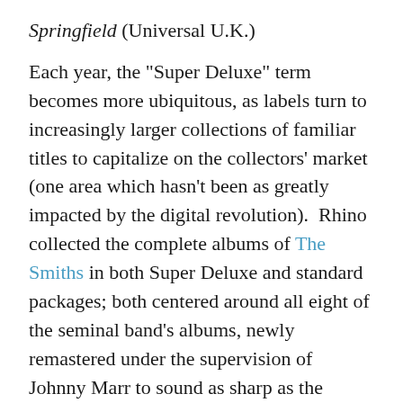Springfield (Universal U.K.)
Each year, the "Super Deluxe" term becomes more ubiquitous, as labels turn to increasingly larger collections of familiar titles to capitalize on the collectors' market (one area which hasn't been as greatly impacted by the digital revolution).  Rhino collected the complete albums of The Smiths in both Super Deluxe and standard packages; both centered around all eight of the seminal band's albums, newly remastered under the supervision of Johnny Marr to sound as sharp as the band's cutting lyrical observations.  Another complete set was produced for Aretha Franklin's oft-overlooked tenure at Columbia Records.  And though the Queen leaned more towards jazz and popular vocals than Soul at Columbia, those who decided to Take a Look were rewarded with a revealing study of an artist on the